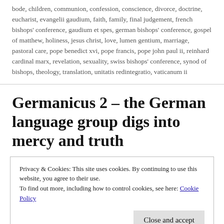bode, children, communion, confession, conscience, divorce, doctrine, eucharist, evangelii gaudium, faith, family, final judgement, french bishops' conference, gaudium et spes, german bishops' conference, gospel of matthew, holiness, jesus christ, love, lumen gentium, marriage, pastoral care, pope benedict xvi, pope francis, pope john paul ii, reinhard cardinal marx, revelation, sexuality, swiss bishops' conference, synod of bishops, theology, translation, unitatis redintegratio, vaticanum ii
Germanicus 2 – the German language group digs into mercy and truth
Privacy & Cookies: This site uses cookies. By continuing to use this website, you agree to their use.
To find out more, including how to control cookies, see here: Cookie Policy
truth, grace and justice, graduality, and the practical